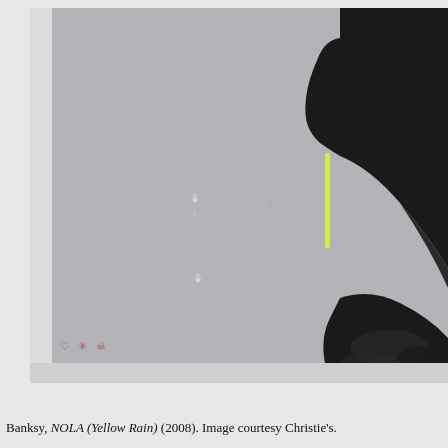[Figure (photo): Banksy artwork NOLA (Yellow Rain) 2008. A close-up detail of a silhouetted dark figure (side profile, facing left) against a grey background. A bright yellow vertical streak/line appears to the right near the figure. Small symbolic icons (heart, hashtag/cross, skull) visible in red/pink at the bottom left of the grey artwork area. The image is mounted with a white border/mat. The overall background of the page is light grey.]
Banksy, NOLA (Yellow Rain) (2008). Image courtesy Christie's.